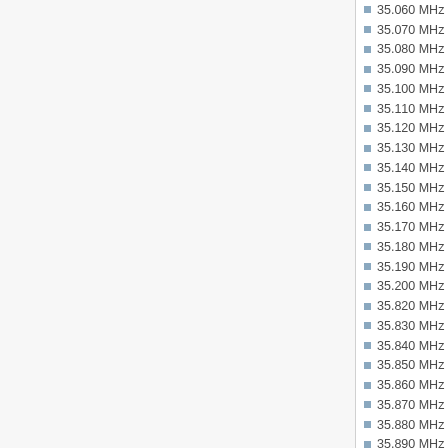35.060 MHz
35.070 MHz
35.080 MHz
35.090 MHz
35.100 MHz
35.110 MHz
35.120 MHz
35.130 MHz
35.140 MHz
35.150 MHz
35.160 MHz
35.170 MHz
35.180 MHz
35.190 MHz
35.200 MHz
35.820 MHz
35.830 MHz
35.840 MHz
35.850 MHz
35.860 MHz
35.870 MHz
35.880 MHz
35.890 MHz